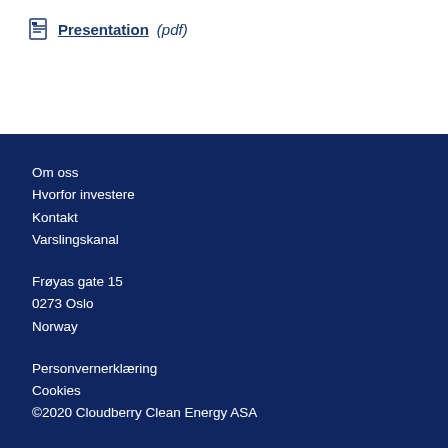Presentation (pdf)
Om oss
Hvorfor investere
Kontakt
Varslingskanal

Frøyas gate 15
0273 Oslo
Norway

Personvernerklæring
Cookies
©2020 Cloudberry Clean Energy ASA